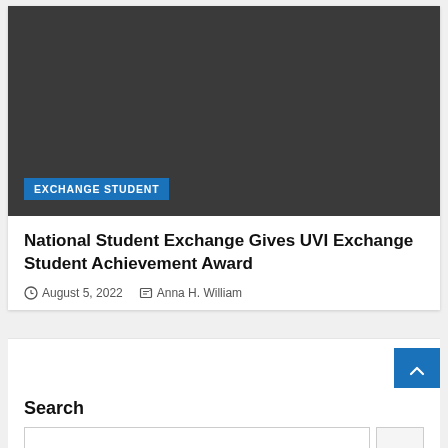[Figure (photo): Dark gray hero image placeholder for article about National Student Exchange UVI Exchange Student Achievement Award]
EXCHANGE STUDENT
National Student Exchange Gives UVI Exchange Student Achievement Award
August 5, 2022   Anna H. William
Search